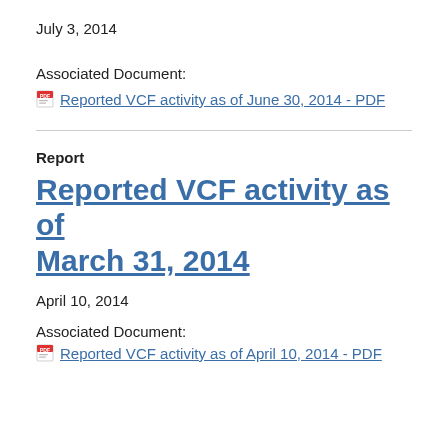July 3, 2014
Associated Document:
Reported VCF activity as of June 30, 2014 - PDF
Report
Reported VCF activity as of March 31, 2014
April 10, 2014
Associated Document:
Reported VCF activity as of April 10, 2014 - PDF